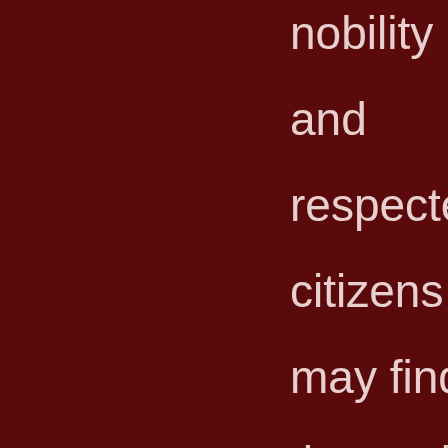nobility and respected citizens may find themselves falling into favor with those hidden behind the